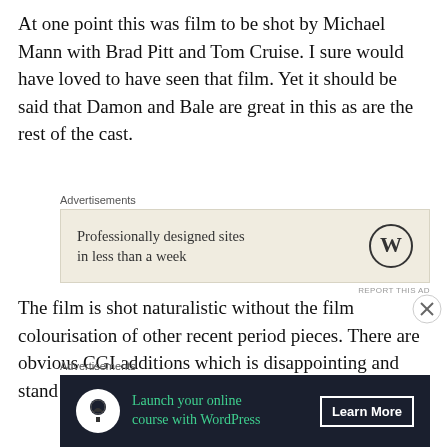At one point this was film to be shot by Michael Mann with Brad Pitt and Tom Cruise. I sure would have loved to have seen that film. Yet it should be said that Damon and Bale are great in this as are the rest of the cast.
[Figure (other): WordPress advertisement banner (light beige background): 'Professionally designed sites in less than a week' with WordPress logo]
The film is shot naturalistic without the film colourisation of other recent period pieces. There are obvious CGI additions which is disappointing and stand out in the trailers but during the film the
[Figure (other): WordPress advertisement banner (dark background): 'Launch your online course with WordPress' with tree icon and 'Learn More' button]